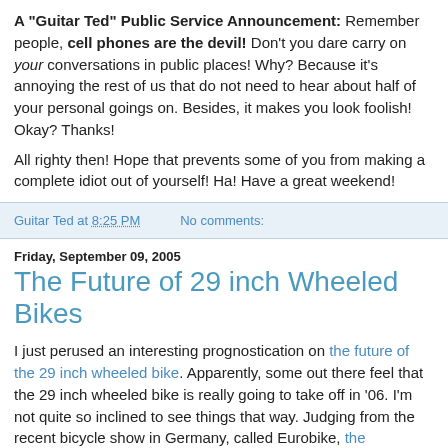A "Guitar Ted" Public Service Announcement: Remember people, cell phones are the devil! Don't you dare carry on your conversations in public places! Why? Because it's annoying the rest of us that do not need to hear about half of your personal goings on. Besides, it makes you look foolish! Okay? Thanks!
All righty then! Hope that prevents some of you from making a complete idiot out of yourself! Ha! Have a great weekend!
Guitar Ted at 8:25 PM   No comments:
Friday, September 09, 2005
The Future of 29 inch Wheeled Bikes
I just perused an interesting prognostication on the future of the 29 inch wheeled bike. Apparently, some out there feel that the 29 inch wheeled bike is really going to take off in '06. I'm not quite so inclined to see things that way. Judging from the recent bicycle show in Germany, called Eurobike, the